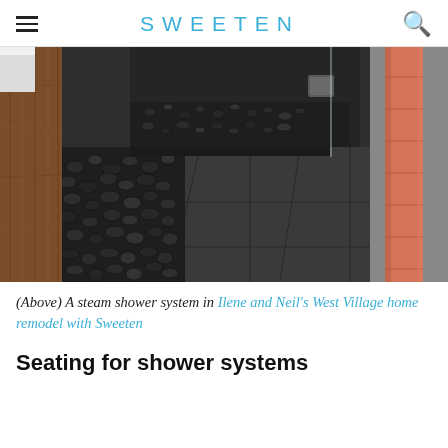SWEETEN
[Figure (photo): Interior bathroom photo showing a steam shower system with dark slate floor tiles, pebble stone flooring section, wooden wall panel on the left, glass shower enclosure in the background, and orange/salmon colored folded towels hanging on the right wall.]
(Above) A steam shower system in Ilene and Neil's West Village home remodel with Sweeten
Seating for shower systems